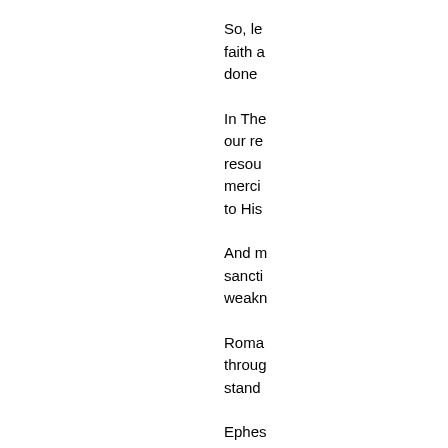So, le faith a done
In The our re resou merci to His
And m sancti weakr
Roma throug stand
Ephes In Him boldn
Hebr